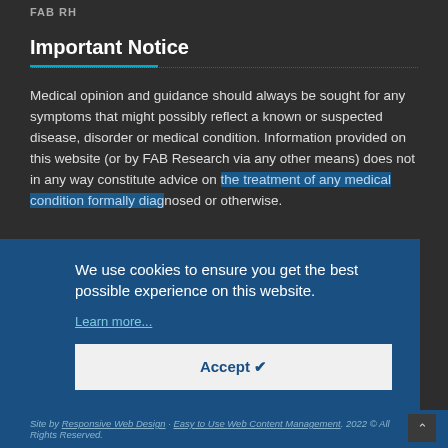FAB RH
Important Notice
Medical opinion and guidance should always be sought for any symptoms that might possibly reflect a known or suspected disease, disorder or medical condition. Information provided on this website (or by FAB Research via any other means) does not in any way constitute advice on the treatment of any medical condition formally diagnosed or otherwise.
We use cookies to ensure you get the best possible experience on this website.
Learn more...
Accept ✔
Site by Responsive Web Design · Easy to Use Web Content Management. 2022 © All Rights Reserved.